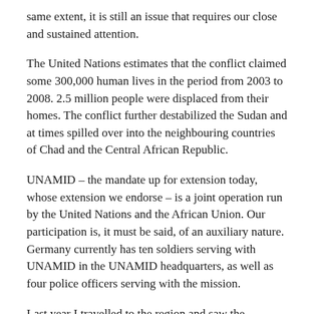same extent, it is still an issue that requires our close and sustained attention.
The United Nations estimates that the conflict claimed some 300,000 human lives in the period from 2003 to 2008. 2.5 million people were displaced from their homes. The conflict further destabilized the Sudan and at times spilled over into the neighbouring countries of Chad and the Central African Republic.
UNAMID – the mandate up for extension today, whose extension we endorse – is a joint operation run by the United Nations and the African Union. Our participation is, it must be said, of an auxiliary nature. Germany currently has ten soldiers serving with UNAMID in the UNAMID headquarters, as well as four police officers serving with the mission.
Last year I travelled to the region and saw the extremely challenging conditions with my own eyes. For that reason I would like to take the liberty of saying – and I am sure I speak